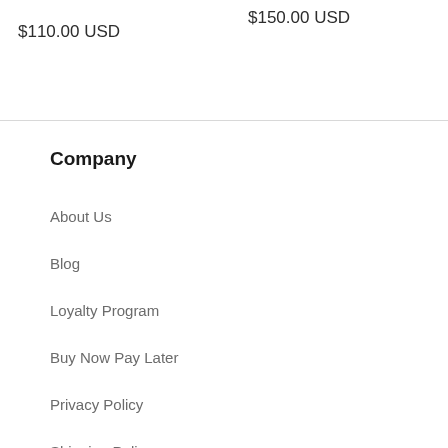$110.00 USD
$150.00 USD
Company
About Us
Blog
Loyalty Program
Buy Now Pay Later
Privacy Policy
Shipping Policy